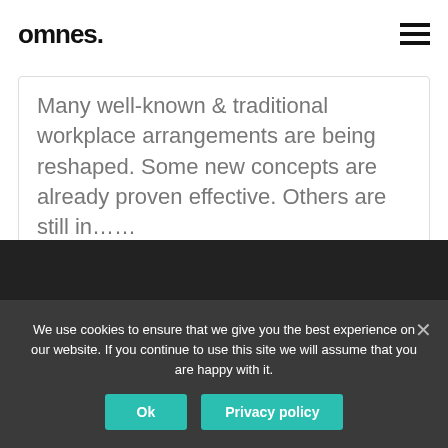omnes.
Many well-known & traditional workplace arrangements are being reshaped. Some new concepts are already proven effective. Others are still in……
We use cookies to ensure that we give you the best experience on our website. If you continue to use this site we will assume that you are happy with it.